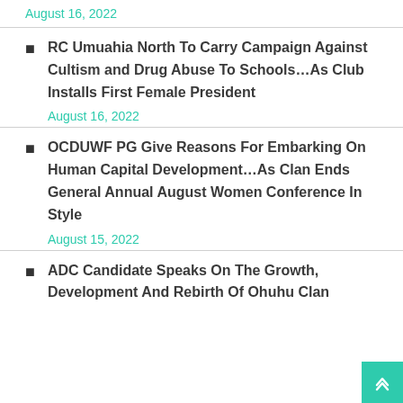August 16, 2022
RC Umuahia North To Carry Campaign Against Cultism and Drug Abuse To Schools…As Club Installs First Female President
August 16, 2022
OCDUWF PG Give Reasons For Embarking On Human Capital Development…As Clan Ends General Annual August Women Conference In Style
August 15, 2022
ADC Candidate Speaks On The Growth, Development And Rebirth Of Ohuhu Clan